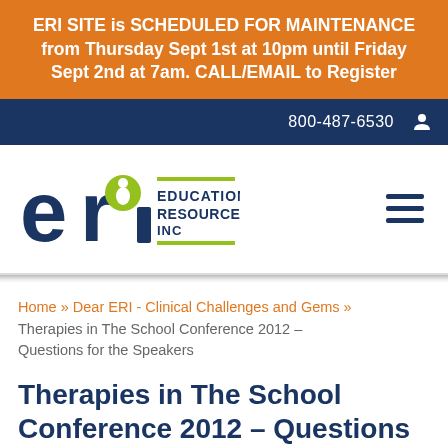ERI SITE is SCHEDULED FOR MAINTENANCE from Thursday Sept 1st at 10pm until Friday Sept 2nd at 7am. CALL/EMAIL to Register
800-487-6530
[Figure (logo): ERI Education Resources Inc logo with green accent circle and yellow-green underline]
Home » Dear ERI - Clinical Challenges and Gems » Therapies in The School Conference 2012 – Questions for the Speakers
Therapies in The School Conference 2012 – Questions for the Speakers